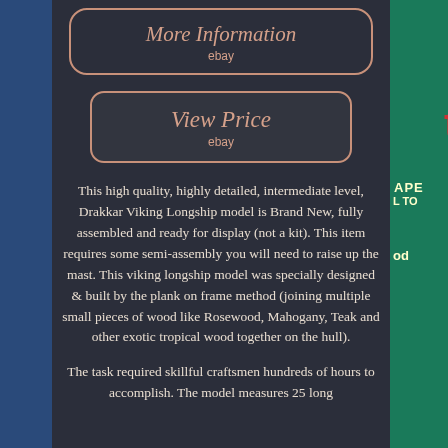[Figure (other): Button with rounded border: 'More Information' in italic serif font with 'ebay' beneath, salmon/copper color on dark background]
[Figure (other): Button with rounded border: 'View Price' in italic serif font with 'ebay' beneath, salmon/copper color on slightly lighter dark background]
This high quality, highly detailed, intermediate level, Drakkar Viking Longship model is Brand New, fully assembled and ready for display (not a kit). This item requires some semi-assembly you will need to raise up the mast. This viking longship model was specially designed & built by the plank on frame method (joining multiple small pieces of wood like Rosewood, Mahogany, Teak and other exotic tropical wood together on the hull).
The task required skillful craftsmen hundreds of hours to accomplish. The model measures 25 long